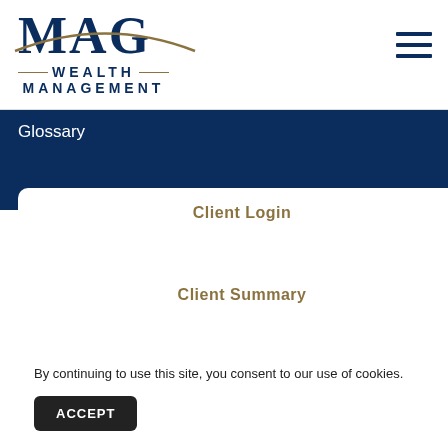[Figure (logo): MAG Wealth Management logo with dark blue lettering and gold arc]
Glossary
Client Login
Client Summary
By continuing to use this site, you consent to our use of cookies.
ACCEPT